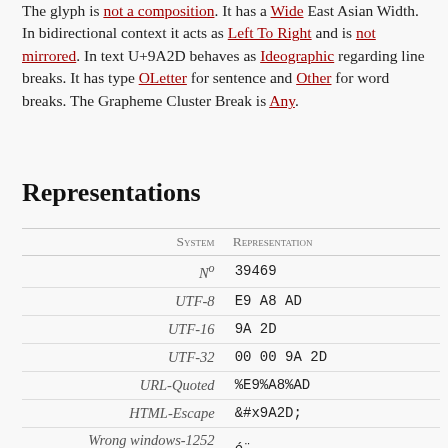The glyph is not a composition. It has a Wide East Asian Width. In bidirectional context it acts as Left To Right and is not mirrored. In text U+9A2D behaves as Ideographic regarding line breaks. It has type OLetter for sentence and Other for word breaks. The Grapheme Cluster Break is Any.
Representations
| System | Representation |
| --- | --- |
| Nº | 39469 |
| UTF-8 | E9 A8 AD |
| UTF-16 | 9A 2D |
| UTF-32 | 00 00 9A 2D |
| URL-Quoted | %E9%A8%AD |
| HTML-Escape | &#x9A2D; |
| Wrong windows-1252 Mojibake | é¨­ |